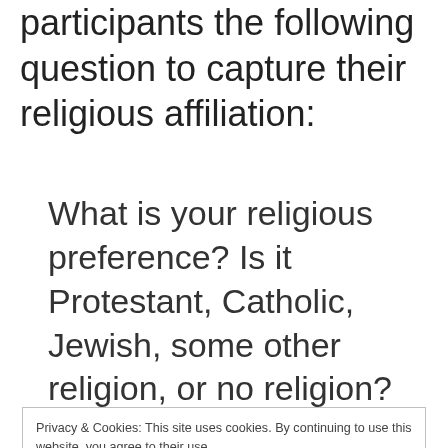participants the following question to capture their religious affiliation:
What is your religious preference? Is it Protestant, Catholic, Jewish, some other religion, or no religion?
Privacy & Cookies: This site uses cookies. By continuing to use this website, you agree to their use. To find out more, including how to control cookies, see here: Cookie Policy
Close and accept
What is your present religion, if